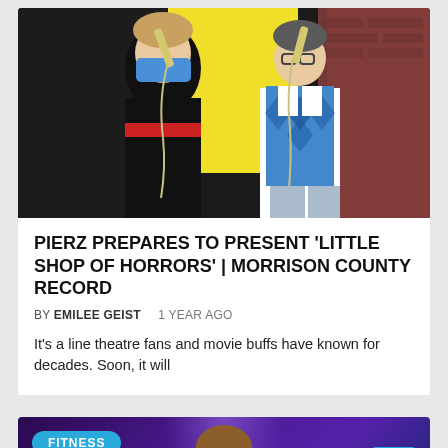[Figure (photo): Two theatre performers holding telephone handsets to their ears on stage. Left performer wears a blue face mask, black dress with red belt. Right performer wears a blue argyle vest over a white shirt.]
PIERZ PREPARES TO PRESENT 'LITTLE SHOP OF HORRORS' | MORRISON COUNTY RECORD
BY EMILEE GEIST   1 YEAR AGO
It's a line theatre fans and movie buffs have known for decades. Soon, it will
[Figure (photo): Photo of a performer on stage with purple/blue stage lighting and silhouetted audience. FITNESS category badge shown in teal. Scroll-to-top button in teal at bottom right.]